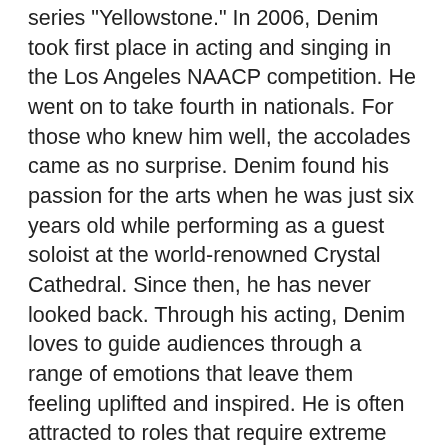series "Yellowstone." In 2006, Denim took first place in acting and singing in the Los Angeles NAACP competition. He went on to take fourth in nationals. For those who knew him well, the accolades came as no surprise. Denim found his passion for the arts when he was just six years old while performing as a guest soloist at the world-renowned Crystal Cathedral. Since then, he has never looked back. Through his acting, Denim loves to guide audiences through a range of emotions that leave them feeling uplifted and inspired. He is often attracted to roles that require extreme character development and vocal ability. Denim has always had a burning desire to own and create, so in 2010, he created his own production company, Lazer Focus Productions, LLC (LFP). LFP is a multi-ethnic company that